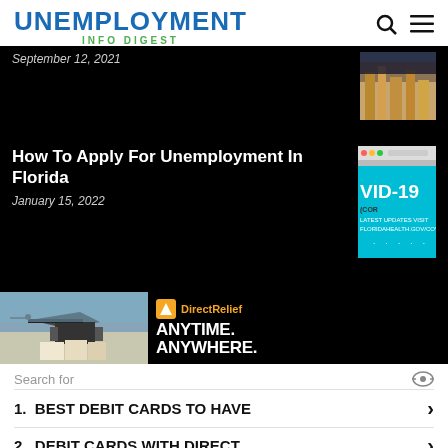UNEMPLOYMENT INFO DIGEST
September 12, 2021
How To Apply For Unemployment In Florida
January 15, 2022
[Figure (photo): Aerial city view thumbnail]
[Figure (screenshot): COVID-19 Florida Health website screenshot with teal VID-19 banner and LATEST UPDATES VISIT FLORIDAHEALTH.GOV/COV text]
[Figure (photo): Military helicopter loading cargo on tarmac]
[Figure (infographic): Direct Relief ad: ANYTIME. ANYWHERE.]
Search for
1.  BEST DEBIT CARDS TO HAVE
2.  DEBIT CARDS WITH DIRECT
Ad | Business Focus